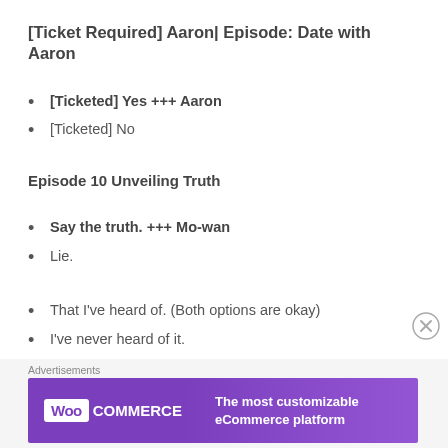[Ticket Required] Aaron| Episode: Date with Aaron
[Ticketed] Yes +++ Aaron
[Ticketed] No
Episode 10 Unveiling Truth
Say the truth. +++ Mo-wan
Lie.
That I've heard of. (Both options are okay)
I've never heard of it.
Advertisements
[Figure (other): WooCommerce advertisement banner: 'The most customizable eCommerce platform']